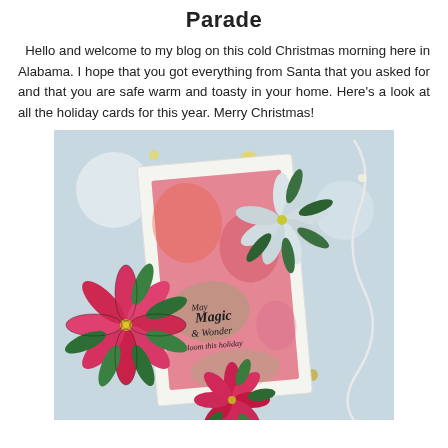Parade
Hello and welcome to my blog on this cold Christmas morning here in Alabama. I hope that you got everything from Santa that you asked for and that you are safe warm and toasty in your home. Here's a look at all the holiday cards for this year. Merry Christmas!
[Figure (photo): A holiday greeting card featuring colorful watercolor poinsettia flowers in pink, red, and green with white poinsettia accents, placed against a light blue background with string lights. The card reads 'May Magic & Wonder bloom this holiday'.]